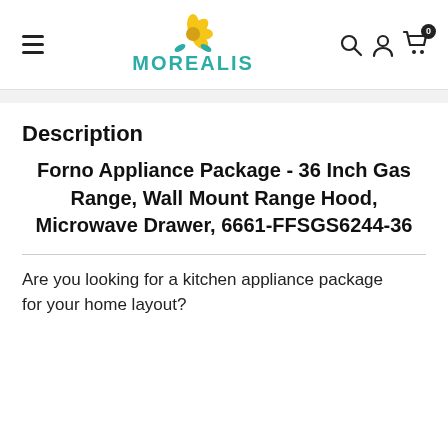MOREALIS
Description
Forno Appliance Package - 36 Inch Gas Range, Wall Mount Range Hood, Microwave Drawer, 6661-FFSGS6244-36
Are you looking for a kitchen appliance package for your home layout?